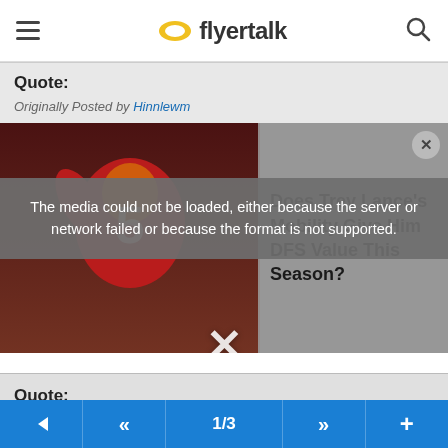flyertalk
Quote:
Originally Posted by Hinnlewm
[Figure (screenshot): Video media overlay with football player in red jersey #5, error message 'The media could not be loaded, either because the server or network failed or because the format is not supported.' with article title 'Does Trey Lance's Mobility Give Him DFS Value This Season?' and an X dismiss button]
Quote:
Here in CHS previously when we got a mainline 737 from ORD (8pm takeoff - 11:30pm land) in the winter the crew would fly in, go to the hotel and then operate the 0600 CHS-ORD flight. Basically they were using some funny math
← << 1/3 >> +